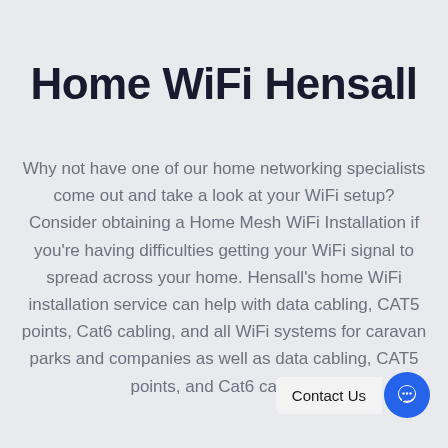Home WiFi Hensall
Why not have one of our home networking specialists come out and take a look at your WiFi setup? Consider obtaining a Home Mesh WiFi Installation if you're having difficulties getting your WiFi signal to spread across your home. Hensall's home WiFi installation service can help with data cabling, CAT5 points, Cat6 cabling, and all WiFi systems for caravan parks and companies as well as data cabling, CAT5 points, and Cat6 cabling.